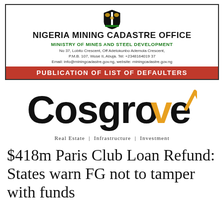NIGERIA MINING CADASTRE OFFICE
MINISTRY OF MINES AND STEEL DEVELOPMENT
No 37, Lobito Crescent, Off Adetokunbo Ademola Crescent,
P.M.B. 107, Wuse II, Abuja. Tel: +2348164019 37
Email: info@miningcadastre.gov.ng, website: miningcadastre.gov.ng
PUBLICATION OF LIST OF DEFAULTERS
[Figure (logo): Cosgrove logo — stylized black text 'Cosgrove' with a golden house/roof icon replacing the letter 'e' and 'v']
Real Estate | Infrastructure | Investment
$418m Paris Club Loan Refund: States warn FG not to tamper with funds